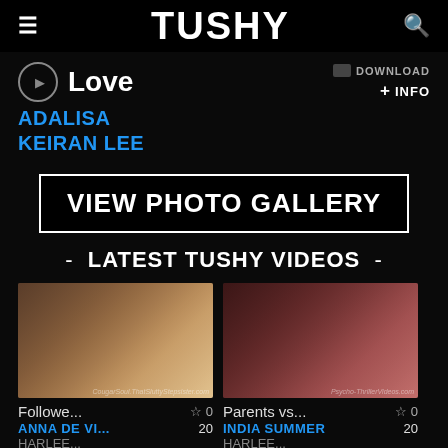≡  TUSHY  🔍
Love
DOWNLOAD
+ INFO
ADALISA
KEIRAN LEE
VIEW PHOTO GALLERY
- LATEST TUSHY VIDEOS -
[Figure (screenshot): Video thumbnail showing bedroom scene]
[Figure (screenshot): Video thumbnail showing indoor scene]
Followe...  ☆ 0
Parents vs...  ☆ 0
ANNA DE VI...  20
INDIA SUMMER  20